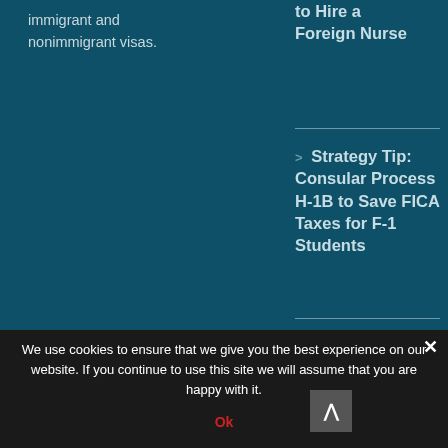immigrant and nonimmigrant visas.
Strategy Tip: Consular Process H-1B to Save FICA Taxes for F-1 Students
We use cookies to ensure that we give you the best experience on our website. If you continue to use this site we will assume that you are happy with it.
Ok